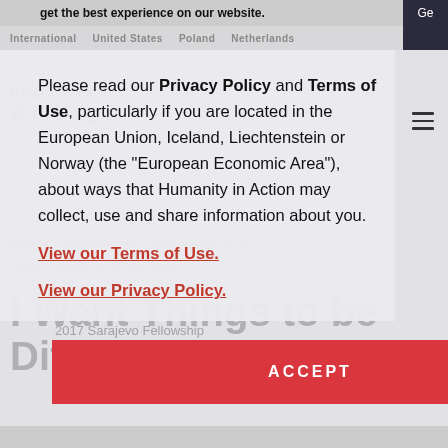get the best experience on our website.
Please read our Privacy Policy and Terms of Use, particularly if you are located in the European Union, Iceland, Liechtenstein or Norway (the “European Economic Area”), about ways that Humanity in Action may collect, use and share information about you.
View our Terms of Use.
View our Privacy Policy.
ACCEPT
Aldin Vrškić
2017 Sarajevo Fellowship